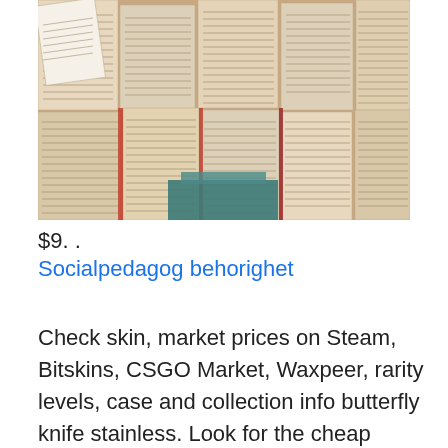[Figure (photo): Overhead view of many open books fanned out with pages visible, beige/cream tones with red book spines visible]
$9. .
Socialpedagog behorighet
Check skin, market prices on Steam, Bitskins, CSGO Market, Waxpeer, rarity levels, case and collection info butterfly knife stainless. Look for the cheap butterfly knife stainless with durable and practical quality from DHgate Australia site. We provide a giant platform to help you find the best